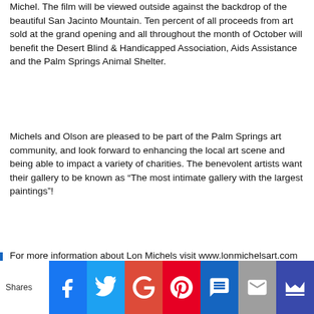Michel. The film will be viewed outside against the backdrop of the beautiful San Jacinto Mountain. Ten percent of all proceeds from art sold at the grand opening and all throughout the month of October will benefit the Desert Blind & Handicapped Association, Aids Assistance and the Palm Springs Animal Shelter.
Michels and Olson are pleased to be part of the Palm Springs art community, and look forward to enhancing the local art scene and being able to impact a variety of charities. The benevolent artists want their gallery to be known as “The most intimate gallery with the largest paintings”!
For more information about Lon Michels visit www.lonmichelsart.com
[Figure (infographic): Social sharing bar with Shares label and icons for Facebook, Twitter, Google+, Pinterest, SMS, Email, and a crown/bookmark button]